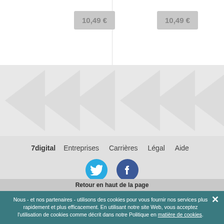10,49 €
10,49 €
[Figure (illustration): Gray decorative background with watermark triangle/arrow shapes pattern]
7digital   Entreprises   Carrières   Légal   Aide
[Figure (illustration): Twitter blue circle icon and Facebook dark blue circle icon]
Retour en haut de la page
Nous - et nos partenaires - utilisons des cookies pour vous fournir nos services plus rapidement et plus efficacement. En utilisant notre site Web, vous acceptez l'utilisation de cookies comme décrit dans notre Politique en matière de cookies.